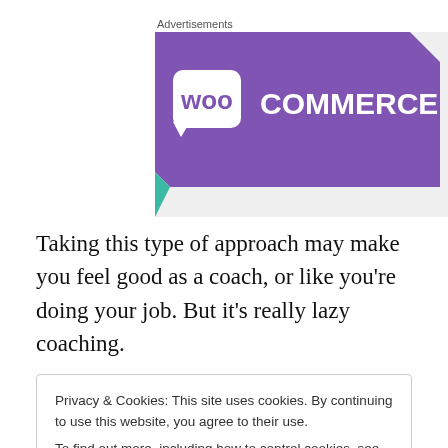[Figure (logo): WooCommerce advertisement banner with purple background and white WooCommerce logo]
Taking this type of approach may make you feel good as a coach, or like you're doing your job. But it's really lazy coaching.
Privacy & Cookies: This site uses cookies. By continuing to use this website, you agree to their use.
To find out more, including how to control cookies, see here: Cookie Policy
Close and accept
Hold them accountable when needed, but understand the